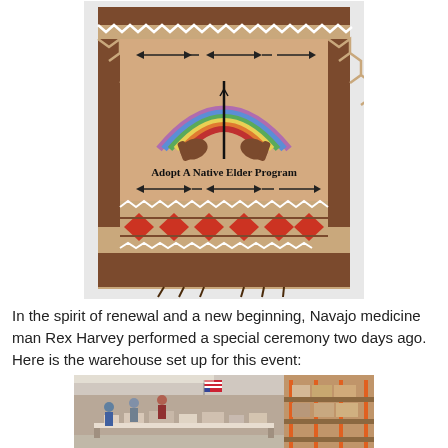[Figure (photo): A Navajo woven tapestry/rug hanging with a tan/brown background. Features zigzag white and brown border pattern on sides, decorative arrows near top and middle, a rainbow arch motif with hands and a feather/needle in the center, text reading 'Adopt A Native Elder Program', and geometric red and brown patterns at the bottom. Has brown fringe at the bottom.]
In the spirit of renewal and a new beginning, Navajo medicine man Rex Harvey performed a special ceremony two days ago. Here is the warehouse set up for this event:
[Figure (photo): Interior of a warehouse with people standing near tables covered with items. Shelving with orange metal racks visible on the right stocked with supplies. An American flag visible in the background. Natural light coming from windows or skylights.]